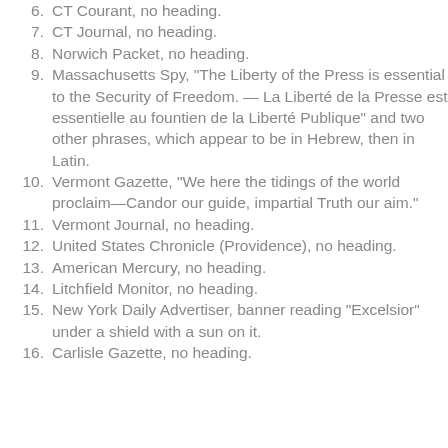6. CT Courant, no heading.
7. CT Journal, no heading.
8. Norwich Packet, no heading.
9. Massachusetts Spy, "The Liberty of the Press is essential to the Security of Freedom. — La Liberté de la Presse est essentielle au fountien de la Liberté Publique" and two other phrases, which appear to be in Hebrew, then in Latin.
10. Vermont Gazette, "We here the tidings of the world proclaim—Candor our guide, impartial Truth our aim."
11. Vermont Journal, no heading.
12. United States Chronicle (Providence), no heading.
13. American Mercury, no heading.
14. Litchfield Monitor, no heading.
15. New York Daily Advertiser, banner reading "Excelsior" under a shield with a sun on it.
16. Carlisle Gazette, no heading.